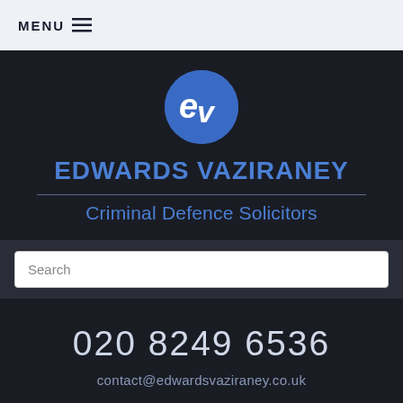MENU ≡
[Figure (logo): Edwards Vaziraney circular logo with stylized 'ev' letters in white on a blue circle background]
EDWARDS VAZIRANEY
Criminal Defence Solicitors
Search
020 8249 6536
contact@edwardsvaziraney.co.uk